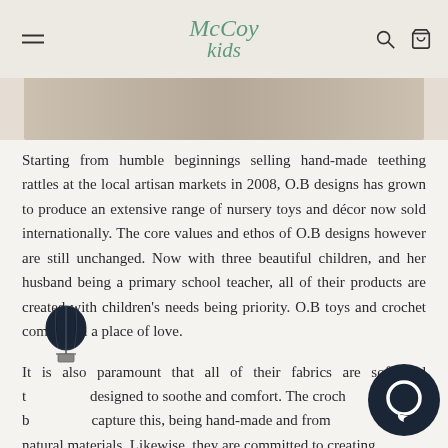McCoy Kids
[Figure (photo): Partial view of product/lifestyle images strip at top of page]
Starting from humble beginnings selling hand-made teething rattles at the local artisan markets in 2008, O.B designs has grown to produce an extensive range of nursery toys and décor now sold internationally. The core values and ethos of O.B designs however are still unchanged. Now with three beautiful children, and her husband being a primary school teacher, all of their products are created with children's needs being priority. O.B toys and crochet come from a place of love.
It is also paramount that all of their fabrics are soft and to be designed to soothe and comfort. The crochet b capture this, being hand-made and from natural materials. Likewise, they are committed to creating products that are ethical and sustainable. All the